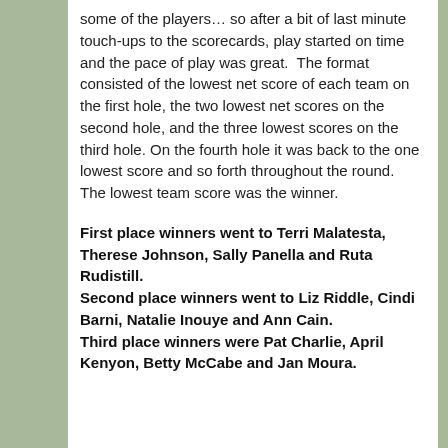some of the players… so after a bit of last minute touch-ups to the scorecards, play started on time and the pace of play was great.  The format consisted of the lowest net score of each team on the first hole, the two lowest net scores on the second hole, and the three lowest scores on the third hole. On the fourth hole it was back to the one lowest score and so forth throughout the round. The lowest team score was the winner.
First place winners went to Terri Malatesta, Therese Johnson, Sally Panella and Ruta Rudistill. Second place winners went to Liz Riddle, Cindi Barni, Natalie Inouye and Ann Cain. Third place winners were Pat Charlie, April Kenyon, Betty McCabe and Jan Moura.